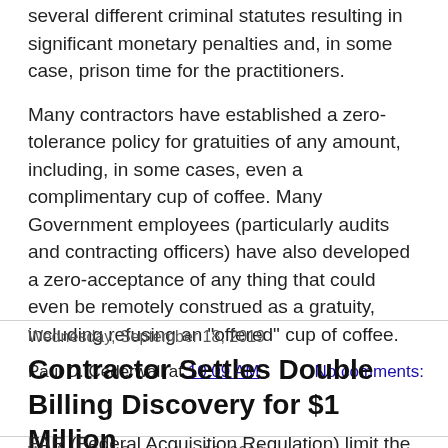several different criminal statutes resulting in significant monetary penalties and, in some case, prison time for the practitioners.
Many contractors have established a zero-tolerance policy for gratuities of any amount, including, in some cases, even a complimentary cup of coffee. Many Government employees (particularly audits and contracting officers) have also developed a zero-acceptance of any thing that could even be remotely construed as a gratuity, including refusing an "offered" cup of coffee.
Paul D. Cederwall at 10:09 AM   No comments:
Share
Wednesday, September 18, 2019
Contractor Settles Double Billing Discovery for $1 Million
FAR (Federal Acquisition Regulation) limit the amount of a...